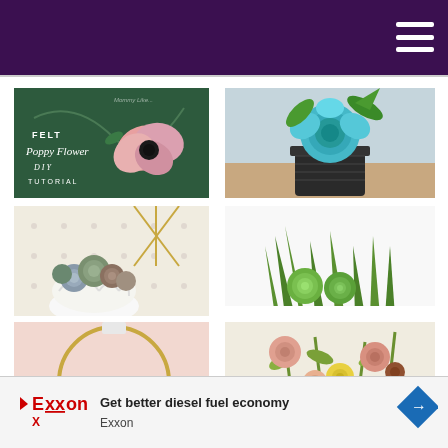[Figure (photo): Dark green background with text 'Felt Poppy Flower Tutorial' and a pink/coral felt poppy flower]
[Figure (photo): Teal/cyan felt rose in a dark wicker basket pot with green leaves]
[Figure (photo): Arrangement of blue, gray, and green felt succulents in a white pumpkin-shaped pot with gold geometric backdrop]
[Figure (photo): Bright green felt succulents and spiky grass-like plants on a white surface]
[Figure (photo): Pink background with gold embroidery hoop and small teal/orange felt succulents]
[Figure (photo): Colorful felt flowers including pink, peach, and yellow blooms hanging or arranged]
[Figure (other): Exxon advertisement banner: Get better diesel fuel economy - Exxon]